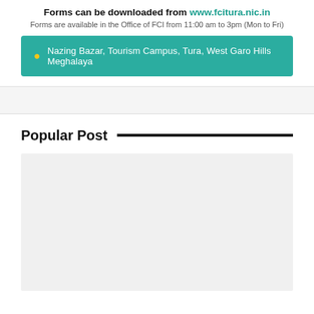Forms can be downloaded from www.fcitura.nic.in
Forms are available in the Office of FCI from 11:00 am to 3pm (Mon to Fri)
📍 Nazing Bazar, Tourism Campus, Tura, West Garo Hills Meghalaya
Popular Post
[Figure (other): Gray placeholder rectangle for a popular post image]